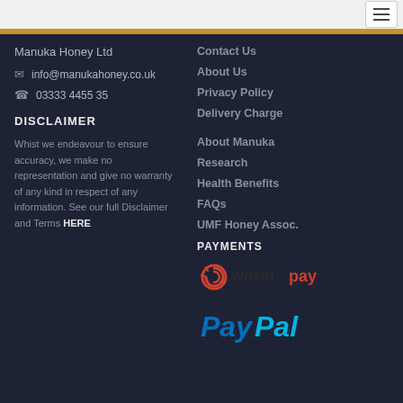Manuka Honey Ltd
info@manukahoney.co.uk
03333 4455 35
DISCLAIMER
Whist we endeavour to ensure accuracy, we make no representation and give no warranty of any kind in respect of any information. See our full Disclaimer and Terms HERE
Contact Us
About Us
Privacy Policy
Delivery Charge
About Manuka
Research
Health Benefits
FAQs
UMF Honey Assoc.
PAYMENTS
[Figure (logo): Worldpay payment logo with red spiral icon and 'worldpay' text in dark and red color]
[Figure (logo): PayPal logo with blue 'Pay' and cyan 'Pal' text in italic font]